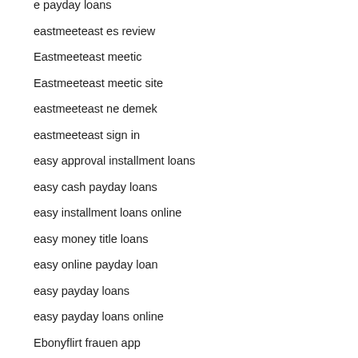e payday loans
eastmeeteast es review
Eastmeeteast meetic
Eastmeeteast meetic site
eastmeeteast ne demek
eastmeeteast sign in
easy approval installment loans
easy cash payday loans
easy installment loans online
easy money title loans
easy online payday loan
easy payday loans
easy payday loans online
Ebonyflirt frauen app
Ebonyflirt hookup site